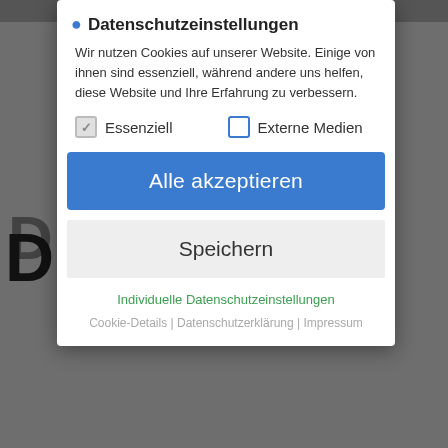[Figure (screenshot): Background webpage screenshot showing partial bold text 'D' on left and watermark text 'on't fo...ration' across the middle]
Datenschutzeinstellungen
Wir nutzen Cookies auf unserer Website. Einige von ihnen sind essenziell, während andere uns helfen, diese Website und Ihre Erfahrung zu verbessern.
Essenziell (checked)
Externe Medien (unchecked)
Alle akzeptieren
Speichern
Individuelle Datenschutzeinstellungen
Cookie-Details | Datenschutzerklärung | Impressum